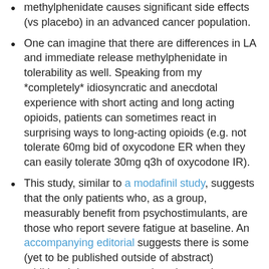methylphenidate causes significant side effects (vs placebo) in an advanced cancer population.
One can imagine that there are differences in LA and immediate release methylphenidate in tolerability as well.  Speaking from my *completely* idiosyncratic and anecdotal experience with short acting and long acting opioids, patients can sometimes react in surprising ways to long-acting opioids (e.g. not tolerate 60mg bid of oxycodone ER when they can easily tolerate 30mg q3h of oxycodone IR).
This study, similar to a modafinil study, suggests that the only patients who, as a group, measurably benefit from psychostimulants, are those who report severe fatigue at baseline.  An accompanying editorial suggests there is some (yet to be published outside of abstract) additional data to support that observation.
This leads me to conclude what would be most helpful would be a study restricted to advanced